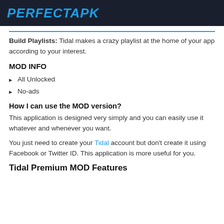PERFECTAPK
Build Playlists: Tidal makes a crazy playlist at the home of your app according to your interest.
MOD INFO
All Unlocked
No-ads
How I can use the MOD version?
This application is designed very simply and you can easily use it whatever and whenever you want.
You just need to create your Tidal account but don't create it using Facebook or Twitter ID. This application is more useful for you.
Tidal Premium MOD Features